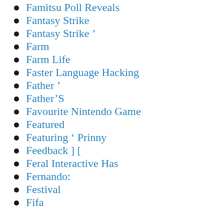Famitsu Poll Reveals
Fantasy Strike
Fantasy Strike ’
Farm
Farm Life
Faster Language Hacking
Father ’
Father’S
Favourite Nintendo Game
Featured
Featuring ‘ Prinny
Feedback ] [
Feral Interactive Has
Fernando:
Festival
Fifa